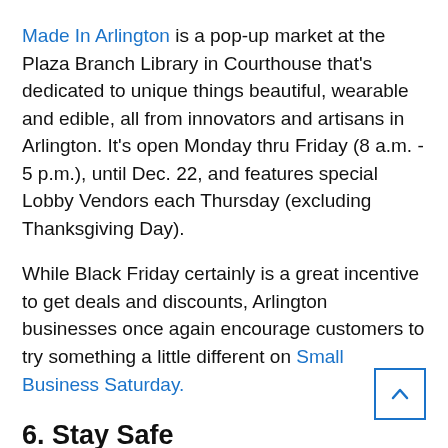Made In Arlington is a pop-up market at the Plaza Branch Library in Courthouse that's dedicated to unique things beautiful, wearable and edible, all from innovators and artisans in Arlington. It's open Monday thru Friday (8 a.m. - 5 p.m.), until Dec. 22, and features special Lobby Vendors each Thursday (excluding Thanksgiving Day).
While Black Friday certainly is a great incentive to get deals and discounts, Arlington businesses once again encourage customers to try something a little different on Small Business Saturday.
6. Stay Safe
As the holiday season arrives, County Police is asking residents and visitors of Arlington to help protect the community by reporting suspicious activity to police for